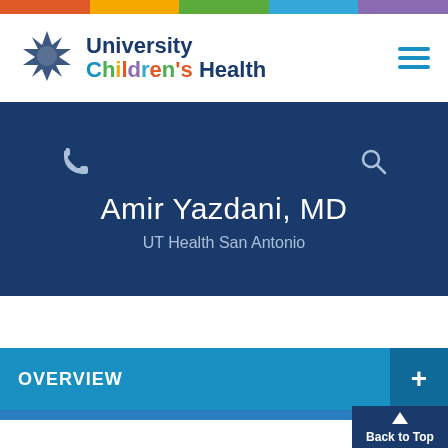[Figure (logo): University Children's Health logo with star emblem and colorful text]
Amir Yazdani, MD
UT Health San Antonio
OVERVIEW